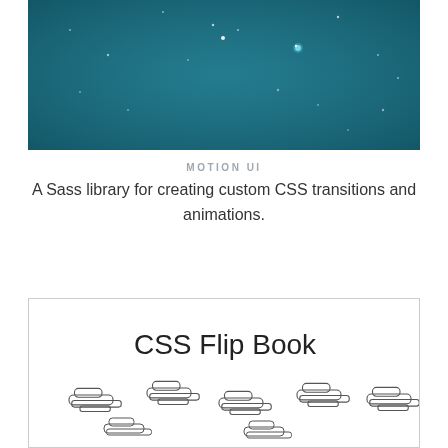[Figure (screenshot): Dark teal/blue background with scattered small white star/dot particles — Motion UI hero image]
MOTION UI
A Sass library for creating custom CSS transitions and animations.
[Figure (screenshot): CSS Flip Book card with outlined cloud illustrations arranged in rows on white background with border]